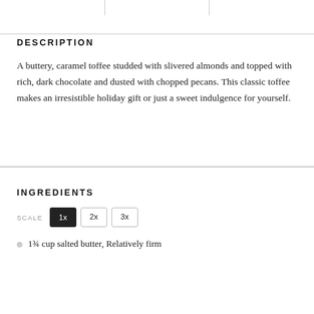DESCRIPTION
A buttery, caramel toffee studded with slivered almonds and topped with rich, dark chocolate and dusted with chopped pecans. This classic toffee makes an irresistible holiday gift or just a sweet indulgence for yourself.
INGREDIENTS
SCALE 1x 2x 3x
1¾ cup salted butter, Relatively firm